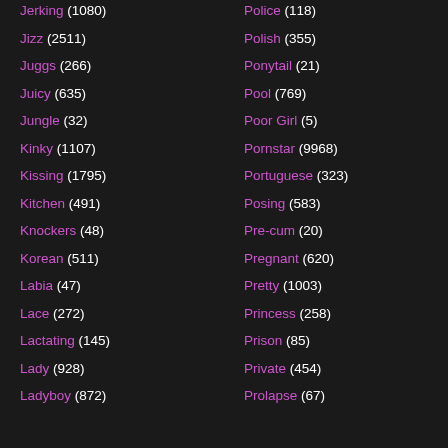Jerking (1080)
Jizz (2511)
Juggs (266)
Juicy (635)
Jungle (32)
Kinky (1107)
Kissing (1795)
Kitchen (491)
Knockers (48)
Korean (511)
Labia (47)
Lace (272)
Lactating (145)
Lady (928)
Ladyboy (872)
Police (118)
Polish (355)
Ponytail (21)
Pool (769)
Poor Girl (5)
Pornstar (9968)
Portuguese (323)
Posing (583)
Pre-cum (20)
Pregnant (620)
Pretty (1003)
Princess (258)
Prison (85)
Private (454)
Prolapse (67)